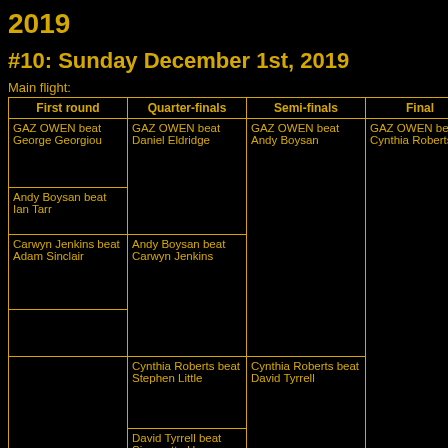2019
#10: Sunday December 1st, 2019
Main flight:
| First round | Quarter-finals | Semi-finals | Final |
| --- | --- | --- | --- |
| GAZ OWEN beat George Georgiou | GAZ OWEN beat Daniel Eldridge | GAZ OWEN beat Andy Boysan | GAZ OWEN beat Cynthia Roberts |
| Andy Boysan beat Ian Tarr | Andy Boysan beat Carwyn Jenkins |  |  |
| Carwyn Jenkins beat Adam Sinclair |  |  |  |
|  | Cynthia Roberts beat Stephen Little | Cynthia Roberts beat David Tyrrell |  |
|  | David Tyrrell beat Simonetta Herrera |  |  |
Consolation flight: